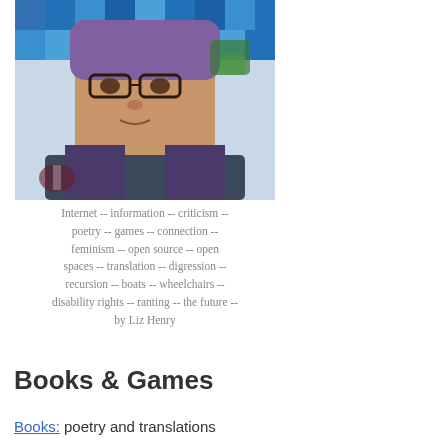[Figure (photo): Portrait photo of a person with purple/blue hair and dark-rimmed glasses, sitting in front of a colorful mosaic background, holding a wine glass.]
Internet -- information -- criticism -- poetry -- games -- connection -- feminism -- open source -- open spaces -- translation -- digression -- recursion -- boats -- wheelchairs -- disability rights -- ranting -- the future -- by Liz Henry
Books & Games
Books: poetry and translations